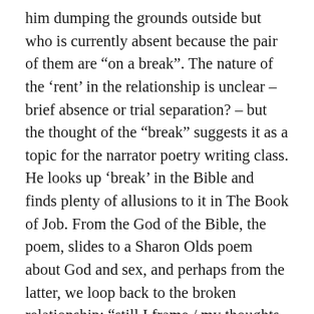him dumping the grounds outside but who is currently absent because the pair of them are “on a break”. The nature of the ‘rent’ in the relationship is unclear – brief absence or trial separation? – but the thought of the “break” suggests it as a topic for the narrator poetry writing class. He looks up ‘break’ in the Bible and finds plenty of allusions to it in The Book of Job. From the God of the Bible, the poem, slides to a Sharon Olds poem about God and sex, and perhaps from the latter, we loop back to the broken relationship: “still I frame / my thoughts as if they were to you”. He listens to music in which he hears various types of ‘breaks’ including an improvised one by Coltrane, the band’s resumption after which takes the poem to thoughts on time and